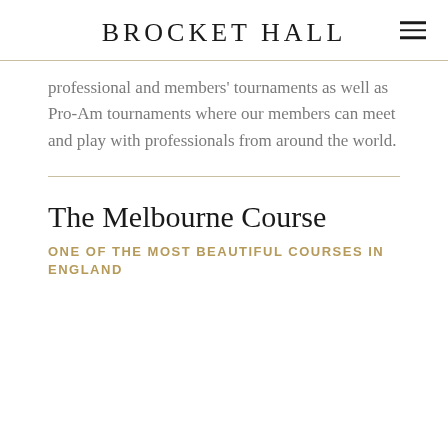BROCKET HALL
professional and members' tournaments as well as Pro-Am tournaments where our members can meet and play with professionals from around the world.
The Melbourne Course
ONE OF THE MOST BEAUTIFUL COURSES IN ENGLAND